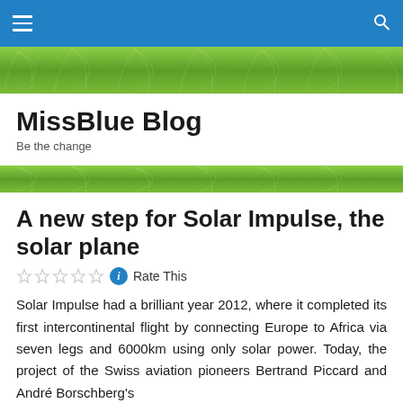MissBlue Blog navigation bar
MissBlue Blog
Be the change
A new step for Solar Impulse, the solar plane
Rate This
Solar Impulse had a brilliant year 2012, where it completed its first intercontinental flight by connecting Europe to Africa via seven legs and 6000km using only solar power. Today, the project of the Swiss aviation pioneers Bertrand Piccard and André Borschberg's